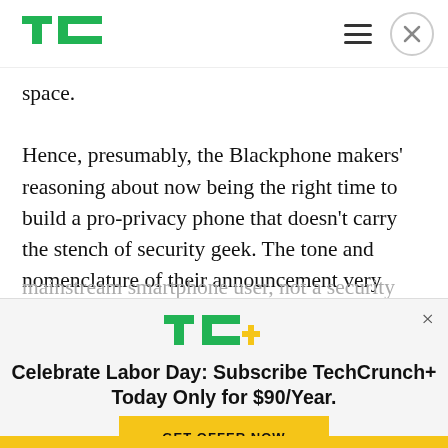TechCrunch
space.
Hence, presumably, the Blackphone makers’ reasoning about now being the right time to build a pro-privacy phone that doesn’t carry the stench of security geek. The tone and nomenclature of their announcement very much feels targeted at a mainstream smartphone user, not a security
[Figure (logo): TechCrunch+ logo with TC+ text in green and yellow]
Celebrate Labor Day: Subscribe TechCrunch+ Today Only for $90/Year.
GET OFFER NOW